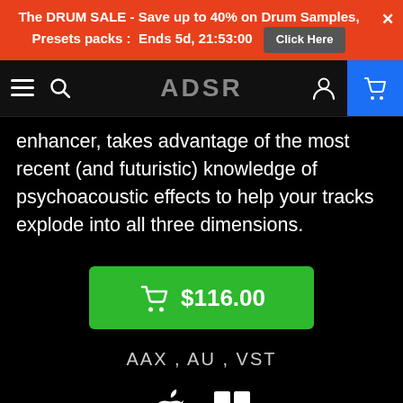The DRUM SALE - Save up to 40% on Drum Samples, Presets packs : Ends 5d, 21:53:00 Click Here
[Figure (screenshot): ADSR website navigation bar with hamburger menu, search icon, ADSR logo, user icon, and shopping cart icon on blue background]
enhancer, takes advantage of the most recent (and futuristic) knowledge of psychoacoustic effects to help your tracks explode into all three dimensions.
[Figure (infographic): Green buy button showing shopping cart icon and price $116.00]
AAX , AU , VST
[Figure (infographic): Apple logo and Windows logo icons indicating Mac and PC compatibility]